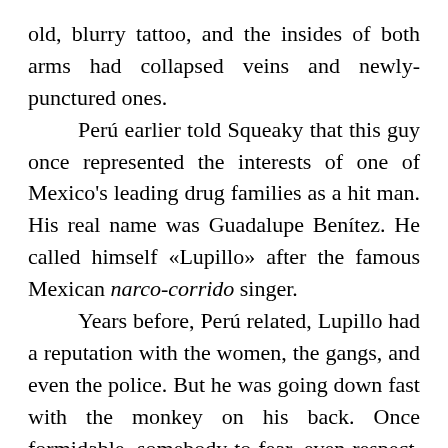old, blurry tattoo, and the insides of both arms had collapsed veins and newly-punctured ones. Perú earlier told Squeaky that this guy once represented the interests of one of Mexico's leading drug families as a hit man. His real name was Guadalupe Benítez. He called himself «Lupillo» after the famous Mexican narco-corrido singer. Years before, Perú related, Lupillo had a reputation with the women, the gangs, and even the police. But he was going down fast with the monkey on his back. Once formidable, somebody to fear, even respect, he was now a